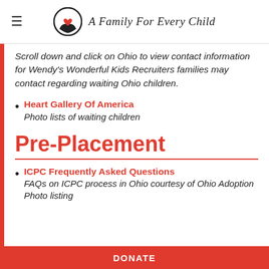≡  A Family For Every Child
Scroll down and click on Ohio to view contact information for Wendy's Wonderful Kids Recruiters families may contact regarding waiting Ohio children.
Heart Gallery Of America
Photo lists of waiting children
Pre-Placement
ICPC Frequently Asked Questions
FAQs on ICPC process in Ohio courtesy of Ohio Adoption Photo listing
DONATE